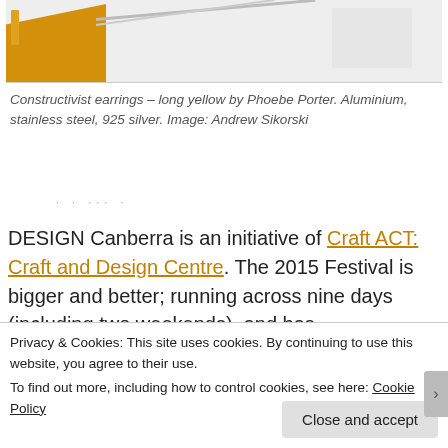[Figure (photo): Photo of constructivist earrings – long yellow aluminium earrings with stainless steel wire, on a white background]
Constructivist earrings – long yellow by Phoebe Porter. Aluminium, stainless steel, 925 silver. Image: Andrew Sikorski
DESIGN Canberra is an initiative of Craft ACT: Craft and Design Centre. The 2015 Festival is bigger and better; running across nine days (including two weekends), and has something for everyone – young and old alike.
Privacy & Cookies: This site uses cookies. By continuing to use this website, you agree to their use.
To find out more, including how to control cookies, see here: Cookie Policy